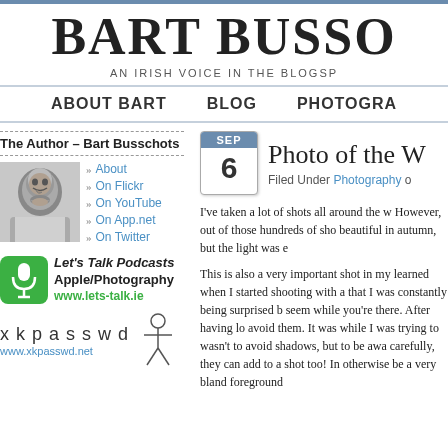BART BUSSO
AN IRISH VOICE IN THE BLOGSP
ABOUT BART   BLOG   PHOTOGRA
The Author – Bart Busschots
About
On Flickr
On YouTube
On App.net
On Twitter
[Figure (logo): Let's Talk Podcasts Apple/Photography www.lets-talk.ie with green microphone icon]
[Figure (logo): xkpasswd logo with stick figure, www.xkpasswd.net]
Photo of the W
Filed Under Photography o
I've taken a lot of shots all around the w However, out of those hundreds of sho beautiful in autumn, but the light was e
This is also a very important shot in my learned when I started shooting with a that I was constantly being surprised b seem while you're there. After having lo avoid them. It was while I was trying to wasn't to avoid shadows, but to be awa carefully, they can add to a shot too! In otherwise be a very bland foreground